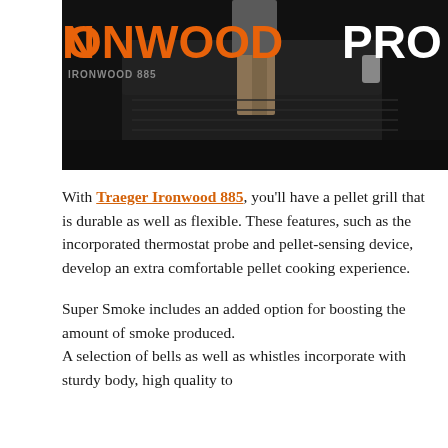[Figure (photo): Dark background promotional photo of the Traeger Ironwood 885 pellet grill with orange 'IRONWOOD' text on the left and white 'PRO' text on the right, with a person standing near the grill]
With Traeger Ironwood 885, you'll have a pellet grill that is durable as well as flexible. These features, such as the incorporated thermostat probe and pellet-sensing device, develop an extra comfortable pellet cooking experience.
Super Smoke includes an added option for boosting the amount of smoke produced. A selection of bells as well as whistles incorporate with sturdy body, high quality to